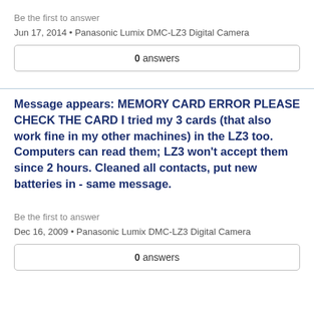Be the first to answer
Jun 17, 2014 • Panasonic Lumix DMC-LZ3 Digital Camera
0 answers
Message appears: MEMORY CARD ERROR PLEASE CHECK THE CARD I tried my 3 cards (that also work fine in my other machines) in the LZ3 too. Computers can read them; LZ3 won't accept them since 2 hours. Cleaned all contacts, put new batteries in - same message.
Be the first to answer
Dec 16, 2009 • Panasonic Lumix DMC-LZ3 Digital Camera
0 answers